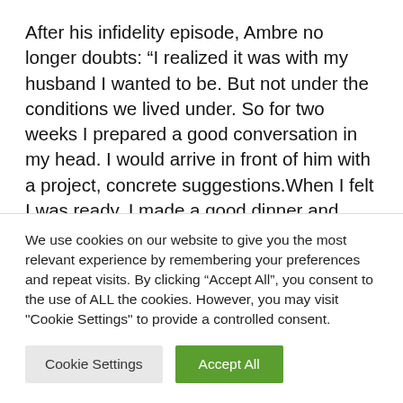After his infidelity episode, Ambre no longer doubts: “I realized it was with my husband I wanted to be. But not under the conditions we lived under. So for two weeks I prepared a good conversation in my head. I would arrive in front of him with a project, concrete suggestions.When I felt I was ready, I made a good dinner and asked him to be home in class.And then I emptied my bag.I explained
We use cookies on our website to give you the most relevant experience by remembering your preferences and repeat visits. By clicking “Accept All”, you consent to the use of ALL the cookies. However, you may visit "Cookie Settings" to provide a controlled consent.